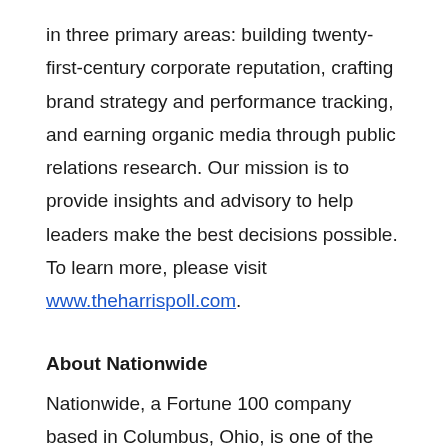in three primary areas: building twenty-first-century corporate reputation, crafting brand strategy and performance tracking, and earning organic media through public relations research. Our mission is to provide insights and advisory to help leaders make the best decisions possible. To learn more, please visit www.theharrispoll.com.
About Nationwide
Nationwide, a Fortune 100 company based in Columbus, Ohio, is one of the largest and